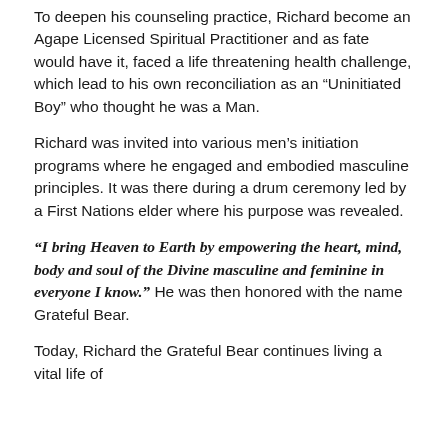To deepen his counseling practice, Richard become an Agape Licensed Spiritual Practitioner and as fate would have it, faced a life threatening health challenge, which lead to his own reconciliation as an “Uninitiated Boy” who thought he was a Man.
Richard was invited into various men’s initiation programs where he engaged and embodied masculine principles. It was there during a drum ceremony led by a First Nations elder where his purpose was revealed.
“I bring Heaven to Earth by empowering the heart, mind, body and soul of the Divine masculine and feminine in everyone I know.” He was then honored with the name Grateful Bear.
Today, Richard the Grateful Bear continues living a vital life of